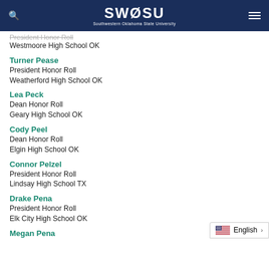SWOSU - Southwestern Oklahoma State University
President Honor Roll
Westmoore High School OK
Turner Pease
President Honor Roll
Weatherford High School OK
Lea Peck
Dean Honor Roll
Geary High School OK
Cody Peel
Dean Honor Roll
Elgin High School OK
Connor Pelzel
President Honor Roll
Lindsay High School TX
Drake Pena
President Honor Roll
Elk City High School OK
Megan Pena